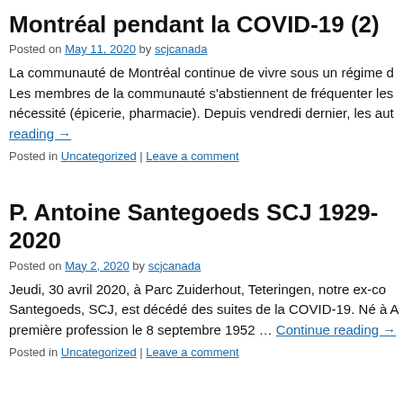Montréal pendant la COVID-19 (2)
Posted on May 11, 2020 by scjcanada
La communauté de Montréal continue de vivre sous un régime d Les membres de la communauté s'abstiennent de fréquenter les nécessité (épicerie, pharmacie). Depuis vendredi dernier, les aut Continue reading →
Posted in Uncategorized | Leave a comment
P. Antoine Santegoeds SCJ 1929-2020
Posted on May 2, 2020 by scjcanada
Jeudi, 30 avril 2020, à Parc Zuiderhout, Teteringen, notre ex-co Santegoeds, SCJ, est décédé des suites de la COVID-19. Né à A première profession le 8 septembre 1952 … Continue reading →
Posted in Uncategorized | Leave a comment